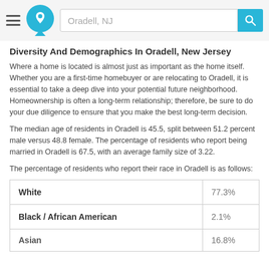Oradell, NJ
Diversity And Demographics In Oradell, New Jersey
Where a home is located is almost just as important as the home itself. Whether you are a first-time homebuyer or are relocating to Oradell, it is essential to take a deep dive into your potential future neighborhood. Homeownership is often a long-term relationship; therefore, be sure to do your due diligence to ensure that you make the best long-term decision.
The median age of residents in Oradell is 45.5, split between 51.2 percent male versus 48.8 female. The percentage of residents who report being married in Oradell is 67.5, with an average family size of 3.22.
The percentage of residents who report their race in Oradell is as follows:
| Race | Percentage |
| --- | --- |
| White | 77.3% |
| Black / African American | 2.1% |
| Asian | 16.8% |